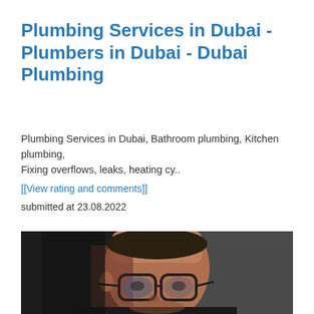Plumbing Services in Dubai - Plumbers in Dubai - Dubai Plumbing
Plumbing Services in Dubai, Bathroom plumbing, Kitchen plumbing, Fixing overflows, leaks, heating cy..
[[View rating and comments]]
submitted at 23.08.2022
[Figure (photo): Close-up photo of a young man with glasses looking slightly downward, dark background, moody lighting]